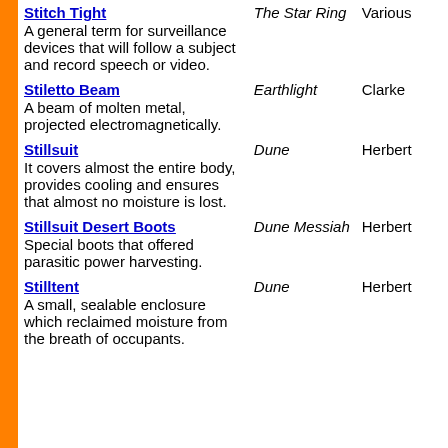| Term | Source | Author |
| --- | --- | --- |
| Stitch Tight
A general term for surveillance devices that will follow a subject and record speech or video. | The Star Ring | Various |
| Stiletto Beam
A beam of molten metal, projected electromagnetically. | Earthlight | Clarke |
| Stillsuit
It covers almost the entire body, provides cooling and ensures that almost no moisture is lost. | Dune | Herbert |
| Stillsuit Desert Boots
Special boots that offered parasitic power harvesting. | Dune Messiah | Herbert |
| Stilltent
A small, sealable enclosure which reclaimed moisture from the breath of occupants. | Dune | Herbert |